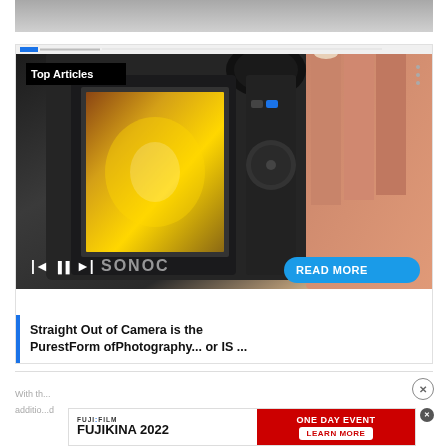[Figure (photo): Gray gradient image strip at top of page]
[Figure (screenshot): Article card with camera photo, Top Articles label, media controls, READ MORE button, and article title 'Straight Out of Camera is the PurestForm ofPhotography... or IS ...']
Straight Out of Camera is the PurestForm ofPhotography... or IS ...
With th... additio... d
[Figure (screenshot): Fujifilm Fujikina 2022 One Day Event advertisement banner with Learn More button]